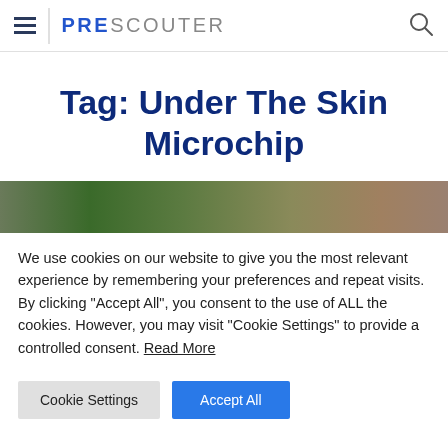PRESCOUTER
Tag: Under The Skin Microchip
[Figure (photo): Blurred green and brown background image strip]
We use cookies on our website to give you the most relevant experience by remembering your preferences and repeat visits. By clicking "Accept All", you consent to the use of ALL the cookies. However, you may visit "Cookie Settings" to provide a controlled consent. Read More
Cookie Settings | Accept All